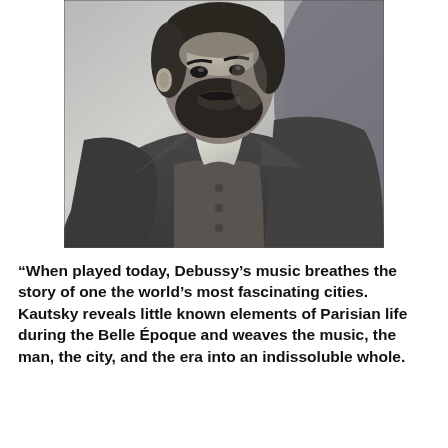[Figure (photo): Black and white portrait photograph of a bearded man in a dark suit and bow tie, cropped at torso level, showing his head, neck, and upper chest/jacket.]
“When played today, Debussy’s music breathes the story of one the world’s most fascinating cities. Kautsky reveals little known elements of Parisian life during the Belle Époque and weaves the music, the man, the city, and the era into an indissoluble whole.